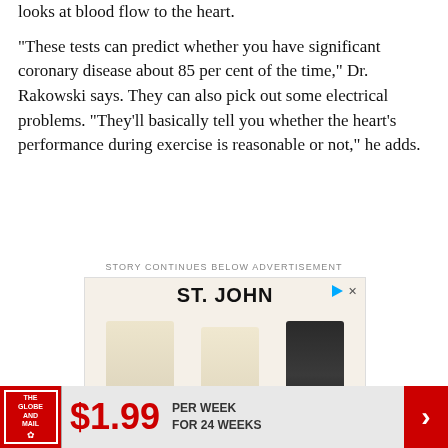looks at blood flow to the heart.
"These tests can predict whether you have significant coronary disease about 85 per cent of the time," Dr. Rakowski says. They can also pick out some electrical problems. "They'll basically tell you whether the heart's performance during exercise is reasonable or not," he adds.
STORY CONTINUES BELOW ADVERTISEMENT
[Figure (other): ST. JOHN fashion advertisement showing clothing items on cream/beige background]
[Figure (other): The Globe and Mail subscription banner: $1.99 PER WEEK FOR 24 WEEKS with red arrow button]